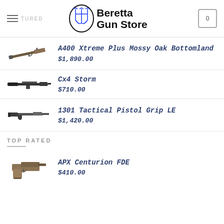Beretta Gun Store
FEATURED
A400 Xtreme Plus Mossy Oak Bottomland
$1,890.00
Cx4 Storm
$710.00
1301 Tactical Pistol Grip LE
$1,420.00
TOP RATED
APX Centurion FDE
$410.00